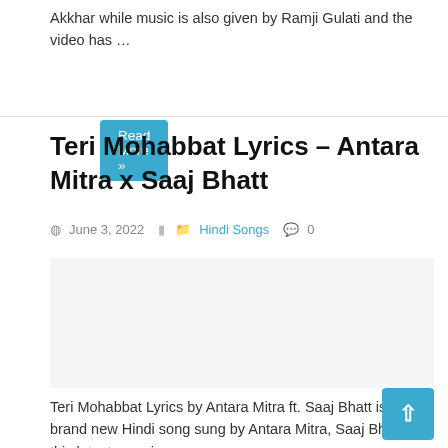Akkhar while music is also given by Ramji Gulati and the video has …
Read More »
Teri Mohabbat Lyrics – Antara Mitra x Saaj Bhatt
June 3, 2022   Hindi Songs   0
[Figure (other): Advertisement or embedded content placeholder]
Teri Mohabbat Lyrics by Antara Mitra ft. Saaj Bhatt is a brand new Hindi song sung by Antara Mitra, Saaj Bhatt and this latest song is